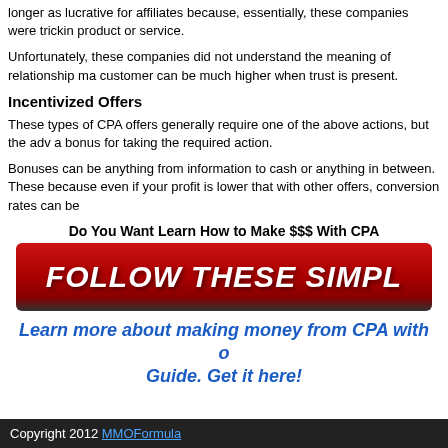longer as lucrative for affiliates because, essentially, these companies were tricking product or service.
Unfortunately, these companies did not understand the meaning of relationship ma customer can be much higher when trust is present.
Incentivized Offers
These types of CPA offers generally require one of the above actions, but the adv a bonus for taking the required action.
Bonuses can be anything from information to cash or anything in between. These because even if your profit is lower that with other offers, conversion rates can be
Do You Want Learn How to Make $$$ With CPA
[Figure (illustration): Red button with white bold italic text reading FOLLOW THESE SIMPL]
Learn more about making money from CPA with o Guide. Get it here!
Copyright 2012 MMOFormula